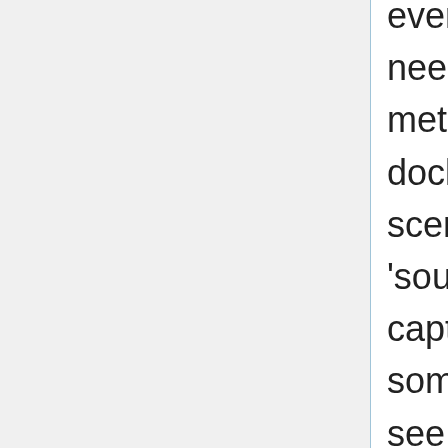everything works fluidly. Next, you will need a picture source, so the easiest method in OBS is to go to the 'scenes' dock, press +, enter a name for your scene, such as 'test card'. Next in the 'sources' dock, press +, select video capture device, create new, type in some name and press OK. You should see a 'colour bar / grey fade / bar' test card appear in the 'Preview' window. Ensure that in the 'Controls' dock, you have pressed 'Studio Mode' so you see Preview and Program windows. Whatever you see in the 'Program' window is the video that is being streamed to your PLUTO. You can set a number of 'scenes' so that you can quickly select and fade or cut between them. If you have desktop video files these are easy to add. You can create an additional scene and for example put a